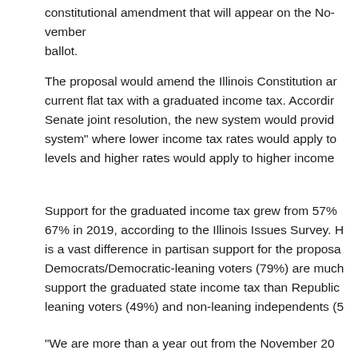constitutional amendment that will appear on the November ballot.
The proposal would amend the Illinois Constitution and replace the current flat tax with a graduated income tax. According to the House-Senate joint resolution, the new system would provide a "graduated system" where lower income tax rates would apply to lower income levels and higher rates would apply to higher income levels.
Support for the graduated income tax grew from 57% in 2015 to 67% in 2019, according to the Illinois Issues Survey. However, there is a vast difference in partisan support for the proposal. Democrats/Democratic-leaning voters (79%) are much more likely to support the graduated state income tax than Republican/Republican-leaning voters (49%) and non-leaning independents (5…
"We are more than a year out from the November 20…